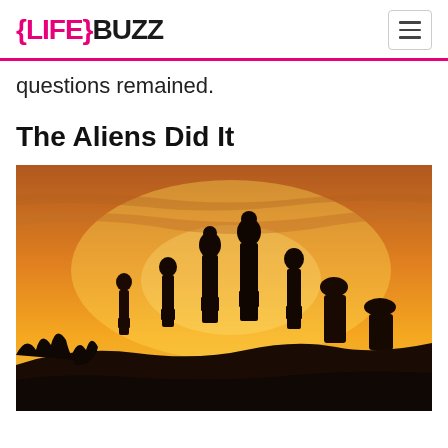{LIFE}BUZZ
questions remained.
The Aliens Did It
[Figure (photo): Silhouettes of Easter Island moai statues against a dramatic golden-orange sunset sky]